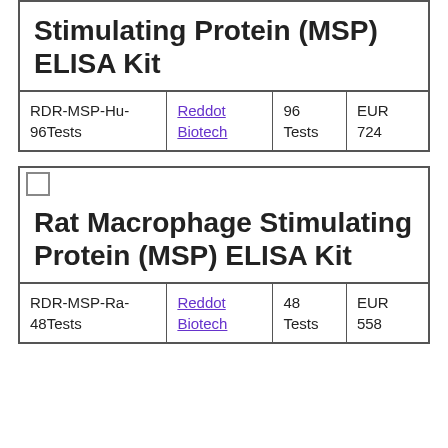| Product Code | Supplier | Size | Price |
| --- | --- | --- | --- |
| Stimulating Protein (MSP) ELISA Kit |  |  |  |
| RDR-MSP-Hu-96Tests | Reddot Biotech | 96 Tests | EUR 724 |
| Product Code | Supplier | Size | Price |
| --- | --- | --- | --- |
| Rat Macrophage Stimulating Protein (MSP) ELISA Kit |  |  |  |
| RDR-MSP-Ra-48Tests | Reddot Biotech | 48 Tests | EUR 558 |